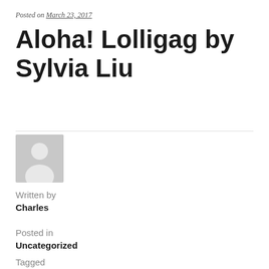Posted on March 23, 2017
Aloha! Lolligag by Sylvia Liu
[Figure (illustration): Generic grey avatar placeholder showing a silhouette of a person (head and shoulders) on a light grey background]
Written by
Charles
Posted in
Uncategorized
Tagged